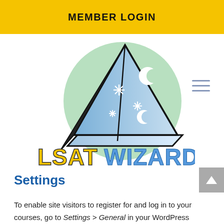MEMBER LOGIN
[Figure (logo): LSAT Wizard logo: a wizard hat drawn as a triangle/sail shape with moon and star decorations on a light green circle background, with 'LSAT' in yellow bold comic lettering and 'WIZARD' in blue comic lettering below]
Settings
To enable site visitors to register for and log in to your courses, go to Settings > General in your WordPress admin and ensure the